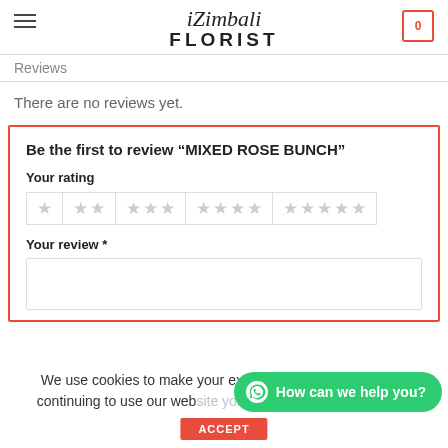iZimbali FLORIST
Reviews
There are no reviews yet.
Be the first to review “MIXED ROSE BUNCH”
Your rating
[Figure (other): Star rating selector with 5 groups of stars (1 star, 2 stars, 3 stars, 4 stars, 5 stars) in light grey]
Your review *
We use cookies to make your experience with us better. By continuing to use our web... cookies...
[Figure (other): WhatsApp chat button with text 'How can we help you?']